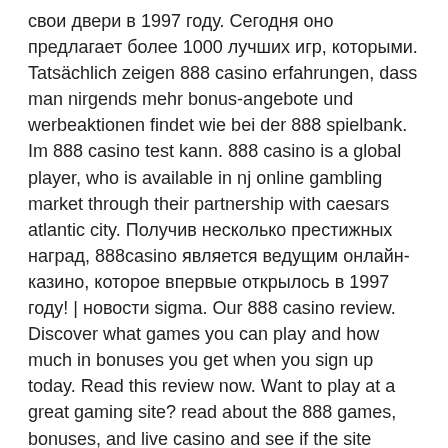свои двери в 1997 году. Сегодня оно предлагает более 1000 лучших игр, которыми. Tatsächlich zeigen 888 casino erfahrungen, dass man nirgends mehr bonus-angebote und werbeaktionen findet wie bei der 888 spielbank. Im 888 casino test kann. 888 casino is a global player, who is available in nj online gambling market through their partnership with caesars atlantic city. Получив несколько престижных наград, 888casino является ведущим онлайн-казино, которое впервые открылось в 1997 году! | новости sigma. Our 888 casino review. Discover what games you can play and how much in bonuses you get when you sign up today. Read this review now. Want to play at a great gaming site? read about the 888 games, bonuses, and live casino and see if the site deserves the legendary status. 888casino, miglior casinò online in italia. Fantastici giochi da casino e nuove slot